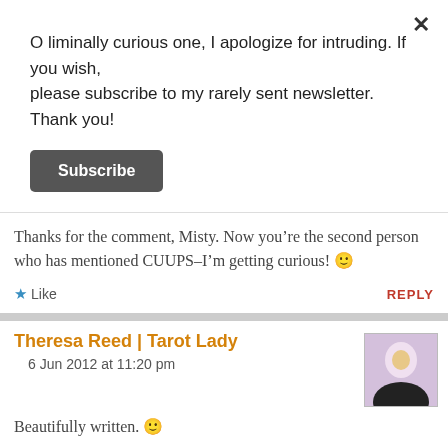O liminally curious one, I apologize for intruding. If you wish, please subscribe to my rarely sent newsletter. Thank you!
Subscribe
5 Jun 2012 at 8:55 pm
Thanks for the comment, Misty. Now you’re the second person who has mentioned CUUPS–I'm getting curious! 🙂
Like
REPLY
Theresa Reed | Tarot Lady
6 Jun 2012 at 11:20 pm
Beautifully written. 🙂
Like
REPLY